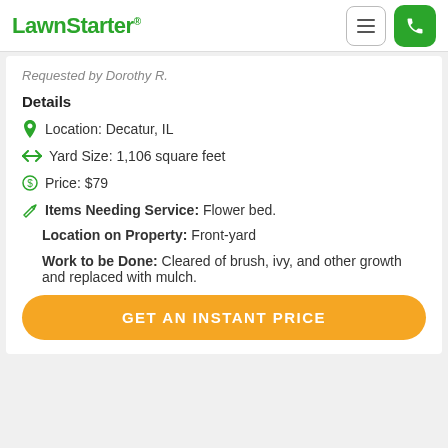LawnStarter
Requested by Dorothy R.
Details
Location: Decatur, IL
Yard Size: 1,106 square feet
Price: $79
Items Needing Service: Flower bed.
Location on Property: Front-yard
Work to be Done: Cleared of brush, ivy, and other growth and replaced with mulch.
GET AN INSTANT PRICE